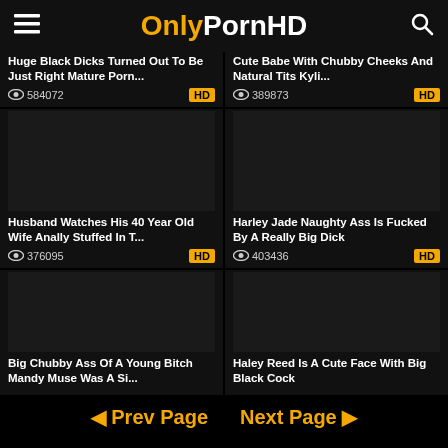OnlyPornHD
[Figure (screenshot): Thumbnail placeholder for video: Huge Black Dicks Turned Out To Be Just Right Mature Porn...]
Huge Black Dicks Turned Out To Be Just Right Mature Porn...
👁 584072  HD
[Figure (screenshot): Thumbnail placeholder for video: Cute Babe With Chubby Cheeks And Natural Tits Kyli...]
Cute Babe With Chubby Cheeks And Natural Tits Kyli...
👁 389873  HD
[Figure (screenshot): Thumbnail placeholder for video: Husband Watches His 40 Year Old Wife Anally Stuffed In T...]
Husband Watches His 40 Year Old Wife Anally Stuffed In T...
👁 376095  HD
[Figure (screenshot): Thumbnail placeholder for video: Harley Jade Naughty Ass Is Fucked By A Really Big Dick]
Harley Jade Naughty Ass Is Fucked By A Really Big Dick
👁 403436  HD
[Figure (screenshot): Thumbnail placeholder for video: Big Chubby Ass Of A Young Bitch Mandy Muse Was A Si...]
Big Chubby Ass Of A Young Bitch Mandy Muse Was A Si...
[Figure (screenshot): Thumbnail placeholder for video: Haley Reed Is A Cute Face With Big Black Cock]
Haley Reed Is A Cute Face With Big Black Cock
◀ Prev Page   Next Page ▶